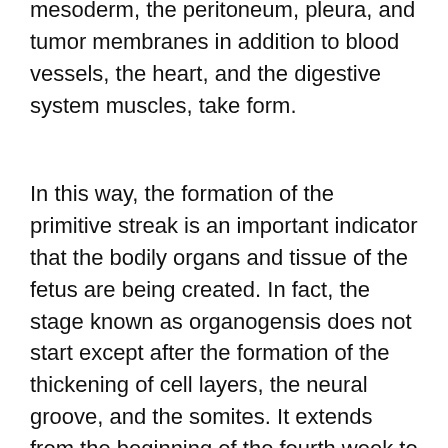will stem from these somites. In this mesoderm, the peritoneum, pleura, and tumor membranes in addition to blood vessels, the heart, and the digestive system muscles, take form.
In this way, the formation of the primitive streak is an important indicator that the bodily organs and tissue of the fetus are being created. In fact, the stage known as organogensis does not start except after the formation of the thickening of cell layers, the neural groove, and the somites. It extends from the beginning of the fourth week to the end of the eighth week. At the end of this period, the fetus is equipped with all basic systems and only tiny details and growth will follow.